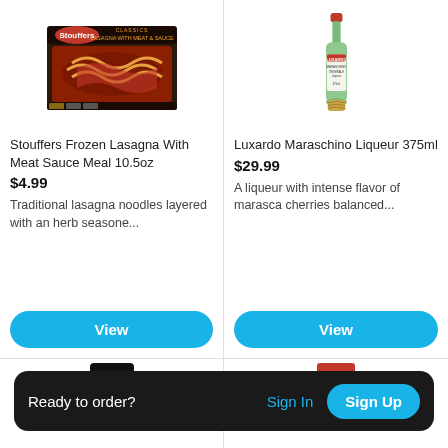[Figure (photo): Stouffer's Frozen Lasagna With Meat Sauce Meal product box photo]
Stouffers Frozen Lasagna With Meat Sauce Meal 10.5oz
$4.99
Traditional lasagna noodles layered with an herb seasone...
[Figure (photo): Luxardo Maraschino Liqueur 375ml bottle photo]
Luxardo Maraschino Liqueur 375ml
$29.99
A liqueur with intense flavor of marasca cherries balanced...
Ready to order?
Sign In
Sign Up
Home  My Bag  Referrals